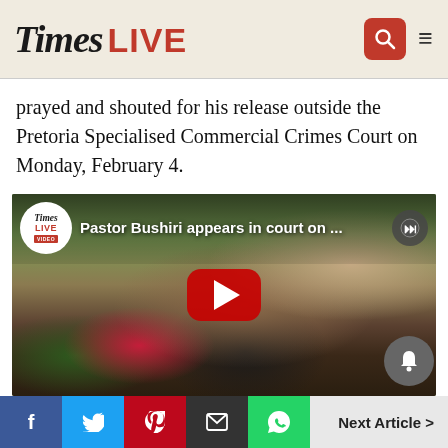Times LIVE
prayed and shouted for his release outside the Pretoria Specialised Commercial Crimes Court on Monday, February 4.
[Figure (screenshot): YouTube video thumbnail showing Pastor Bushiri supporters outside court, with Times LIVE logo badge and red play button. Video title reads: 'Pastor Bushiri appears in court on ...']
Video footage of his supporters kneeling, praying and
f   [twitter]   [pinterest]   [email]   [whatsapp]   Next Article >